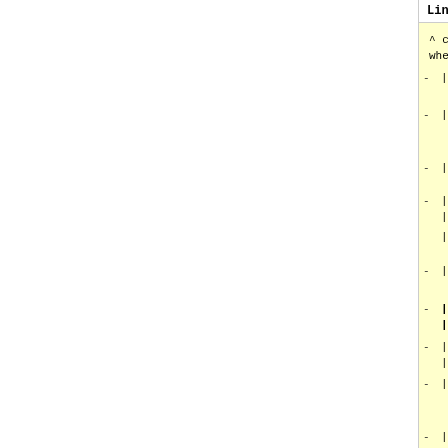Line 6:
^ code ^ course name and link ^ when ^ recording (Y/N)^
|NPFL004 |Seminar on Formal Ling... |Hajičová Eva, Ševčiková Magda
|NPFL006 |[[https://ufal.mff.cun... npfl006|Introduction to Formal L... Ševčiková Magda    |ENG |Zoom| Th...
|NPFL012 |Introduction to Comput... |Kuboň Vladislav    |CZE |Zoom| |...
|:::       |:::
|:::                |ENG |:::| |
|NPFL012 |Methods of Automated T... |Kuboň Vladislav    |     | | | |
|NPFL038 |Fundamentals of Speech... |Peterek Nino       |     | | | |
|NPFL054 |Introduction to Machin... |Hladká Barbora, Holub Martin|CZ...
|:::       |:::
|:::                |ENG |:::| |
|NPFL063 |[[https://ufal.mff.cun... npfl063|Introduction to General ... Jiří        |ENG | | | |
|NPFL067 |Statistical Methods in... |Hajič Jan, Pecina Pavel |ENG |Z...
|NPFL070 |Language Data Resourc...